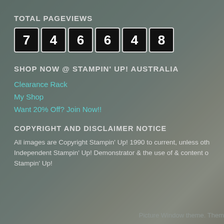TOTAL PAGEVIEWS
[Figure (other): Page view counter showing digits 7 4 6 6 4 8 in black boxes with white borders]
SHOP NOW @ STAMPIN' UP! AUSTRALIA
Clearance Rack
My Shop
Want 20% Off? Join Now!!
COPYRIGHT AND DISCLAIMER NOTICE
All images are Copyright Stampin' Up! 1990 to current, unless oth Independent Stampin' Up! Demonstrator & the use of & content o Stampin' Up!
Picture Window theme. Them